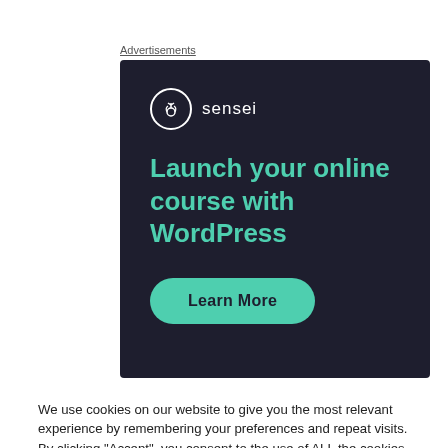Advertisements
[Figure (illustration): Sensei advertisement with dark background. Shows the Sensei logo (tree icon in white circle) and brand name 'sensei', headline text 'Launch your online course with WordPress' in teal/green, and a teal 'Learn More' button.]
We use cookies on our website to give you the most relevant experience by remembering your preferences and repeat visits. By clicking “Accept”, you consent to the use of ALL the cookies.
Do not sell my personal information.
Cookie Settings
Accept